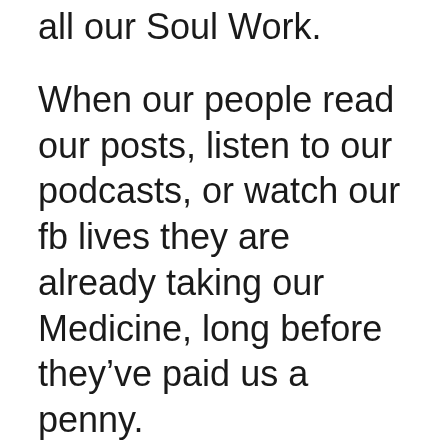all our Soul Work.
When our people read our posts, listen to our podcasts, or watch our fb lives they are already taking our Medicine, long before they've paid us a penny.
I meet very few people to whom this comes naturally – happily, I've also met very few people who we can't guide into this way of being in the world.